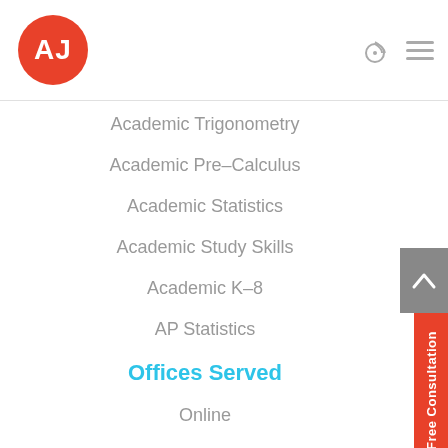[Figure (logo): Red circle logo with white letters AJ]
Academic Trigonometry
Academic Pre-Calculus
Academic Statistics
Academic Study Skills
Academic K-8
AP Statistics
Offices Served
Online